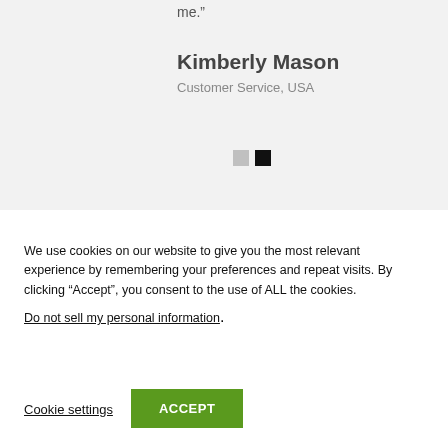me.”
Kimberly Mason
Customer Service, USA
[Figure (other): Two small square pagination indicators: one gray (empty) and one black (filled)]
We use cookies on our website to give you the most relevant experience by remembering your preferences and repeat visits. By clicking “Accept”, you consent to the use of ALL the cookies.
Do not sell my personal information.
Cookie settings
ACCEPT